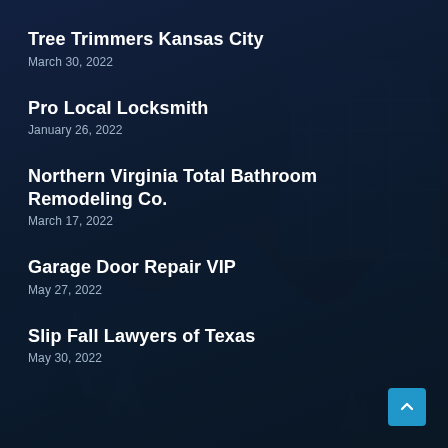Tree Trimmers Kansas City
March 30, 2022
Pro Local Locksmith
January 26, 2022
Northern Virginia Total Bathroom Remodeling Co.
March 17, 2022
Garage Door Repair VIP
May 27, 2022
Slip Fall Lawyers of Texas
May 30, 2022